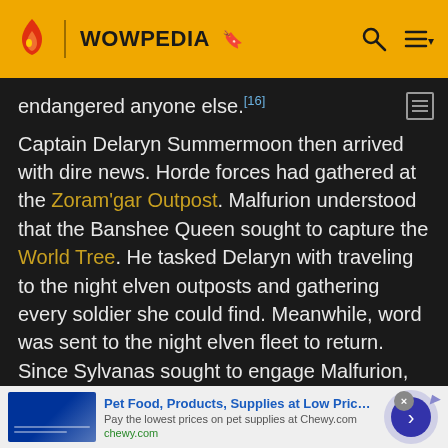WOWPEDIA
endangered anyone else.[16]
Captain Delaryn Summermoon then arrived with dire news. Horde forces had gathered at the Zoram'gar Outpost. Malfurion understood that the Banshee Queen sought to capture the World Tree. He tasked Delaryn with traveling to the night elven outposts and gathering every soldier she could find. Meanwhile, word was sent to the night elven fleet to return. Since Sylvanas sought to engage Malfurion, he planned to give her what she wanted.
Pet Food, Products, Supplies at Low Prices - Pay the lowest prices on pet supplies at Chewy.com chewy.com